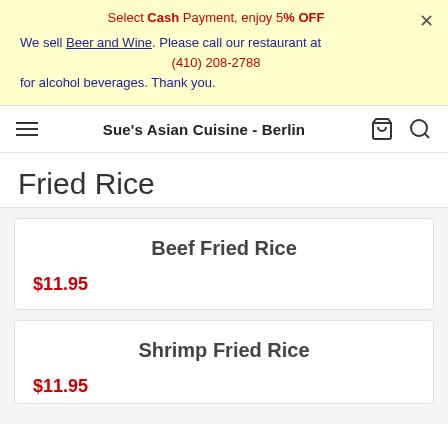Select Cash Payment, enjoy 5% OFF
We sell Beer and Wine. Please call our restaurant at (410) 208-2788 for alcohol beverages. Thank you.
Sue's Asian Cuisine - Berlin
Fried Rice
Beef Fried Rice
$11.95
Shrimp Fried Rice
$11.95